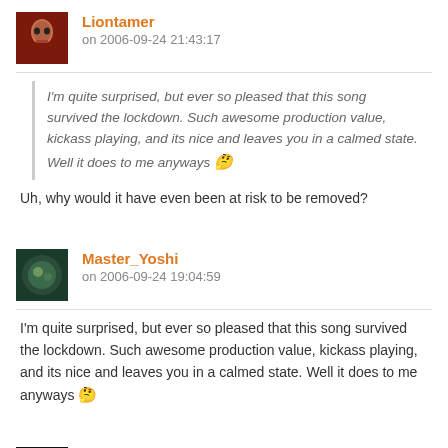[Figure (illustration): Avatar image of Liontamer - dark red face portrait]
Liontamer
on 2006-09-24 21:43:17
I'm quite surprised, but ever so pleased that this song survived the lockdown. Such awesome production value, kickass playing, and its nice and leaves you in a calmed state. Well it does to me anyways 😕
Uh, why would it have even been at risk to be removed?
[Figure (illustration): Avatar image of Master_Yoshi - dark green circular image]
Master_Yoshi
on 2006-09-24 19:04:59
I'm quite surprised, but ever so pleased that this song survived the lockdown. Such awesome production value, kickass playing, and its nice and leaves you in a calmed state. Well it does to me anyways 😕
[Figure (illustration): Avatar image of lady zelda - dark circular silhouette]
lady zelda